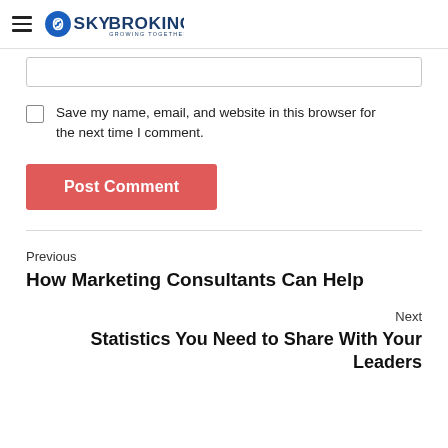Sky Broking - Growing Together
Save my name, email, and website in this browser for the next time I comment.
Post Comment
Previous
How Marketing Consultants Can Help
Next
Statistics You Need to Share With Your Leaders